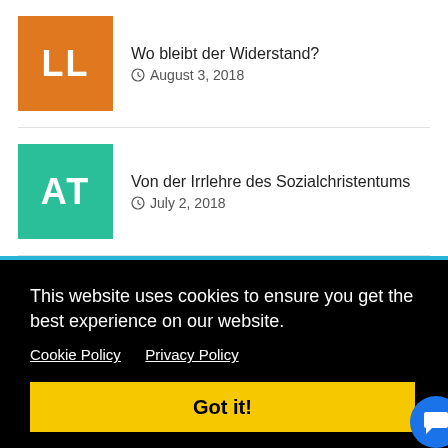Wo bleibt der Widerstand? August 3, 2018
Von der Irrlehre des Sozialchristentums July 2, 2018
This website uses cookies to ensure you get the best experience on our website.
Cookie Policy   Privacy Policy
Got it!
July 7, 2017